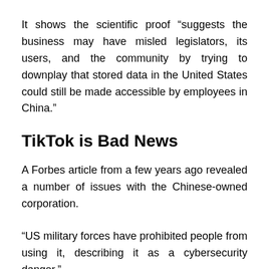It shows the scientific proof “suggests the business may have misled legislators, its users, and the community by trying to downplay that stored data in the United States could still be made accessible by employees in China.”
TikTok is Bad News
A Forbes article from a few years ago revealed a number of issues with the Chinese-owned corporation.
“US military forces have prohibited people from using it, describing it as a cybersecurity danger.”